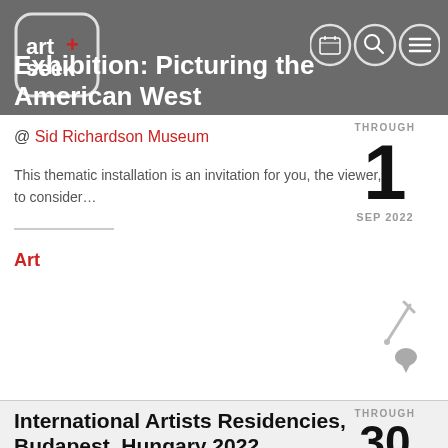art+seek [logo] [calendar icon] [search icon] [menu icon]
Exhibition: Picturing the American West
@ Sid Richardson Museum
This thematic installation is an invitation for you, the viewer, to consider…
THROUGH 1 SEP 2022
Art
International Artists Residencies, Budapest, Hungary 2022
THROUGH 30